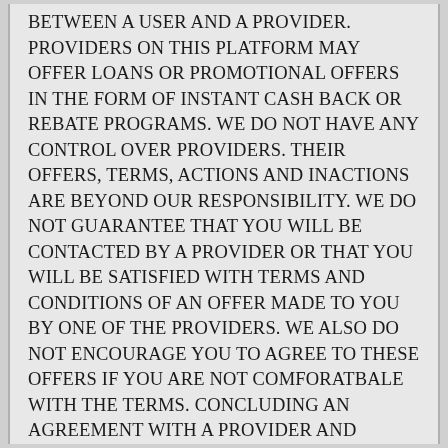BETWEEN A USER AND A PROVIDER. PROVIDERS ON THIS PLATFORM MAY OFFER LOANS OR PROMOTIONAL OFFERS IN THE FORM OF INSTANT CASH BACK OR REBATE PROGRAMS. WE DO NOT HAVE ANY CONTROL OVER PROVIDERS. THEIR OFFERS, TERMS, ACTIONS AND INACTIONS ARE BEYOND OUR RESPONSIBILITY. WE DO NOT GUARANTEE THAT YOU WILL BE CONTACTED BY A PROVIDER OR THAT YOU WILL BE SATISFIED WITH TERMS AND CONDITIONS OF AN OFFER MADE TO YOU BY ONE OF THE PROVIDERS. WE ALSO DO NOT ENCOURAGE YOU TO AGREE TO THESE OFFERS IF YOU ARE NOT COMFORATBALE WITH THE TERMS. CONCLUDING AN AGREEMENT WITH A PROVIDER AND GIVING YOUR E-SIGNATURE TO A DEAL IS YOUR DECISION AND YOUR RESPONSIBILITY. findthecashnow.com MAY NOT BE